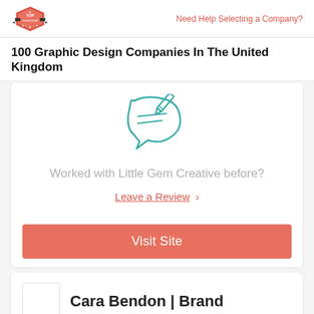TOP DESIGN FIRMS | Need Help Selecting a Company?
100 Graphic Design Companies In The United Kingdom
[Figure (illustration): Teal/cyan outline icon of a speech bubble with a document and pencil, representing leaving a review]
Worked with Little Gem Creative before?
Leave a Review >
Visit Site
Cara Bendon | Brand